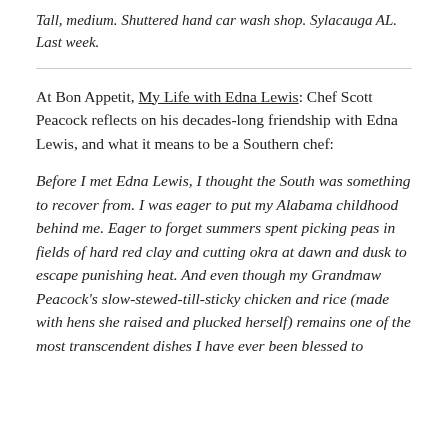Tall, medium. Shuttered hand car wash shop. Sylacauga AL. Last week.
At Bon Appetit, My Life with Edna Lewis: Chef Scott Peacock reflects on his decades-long friendship with Edna Lewis, and what it means to be a Southern chef:
Before I met Edna Lewis, I thought the South was something to recover from. I was eager to put my Alabama childhood behind me. Eager to forget summers spent picking peas in fields of hard red clay and cutting okra at dawn and dusk to escape punishing heat. And even though my Grandmaw Peacock's slow-stewed-till-sticky chicken and rice (made with hens she raised and plucked herself) remains one of the most transcendent dishes I have ever been blessed to